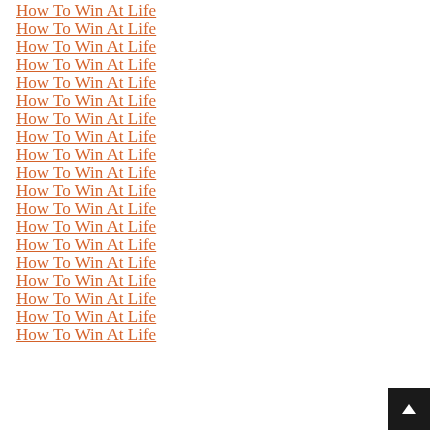How To Win At Life
How To Win At Life
How To Win At Life
How To Win At Life
How To Win At Life
How To Win At Life
How To Win At Life
How To Win At Life
How To Win At Life
How To Win At Life
How To Win At Life
How To Win At Life
How To Win At Life
How To Win At Life
How To Win At Life
How To Win At Life
How To Win At Life
How To Win At Life
How To Win At Life